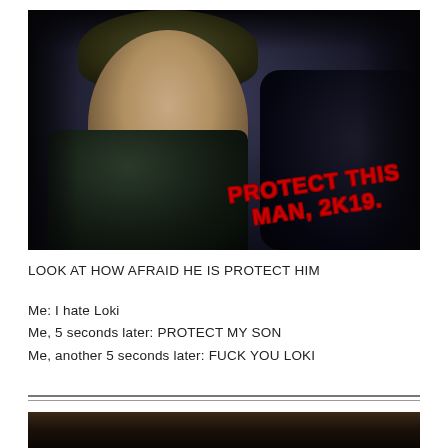[Figure (photo): Dark movie still of Loki wearing his horned helmet, looking afraid/vulnerable. Red handwritten text overlaid reads 'PROTECT THIS MAN, 2K19.']
LOOK AT HOW AFRAID HE IS PROTECT HIM
Me: I hate Loki
Me, 5 seconds later: PROTECT MY SON
Me, another 5 seconds later: FUCK YOU LOKI
[Figure (photo): Partial view of another dark movie still at bottom of page, cropped.]